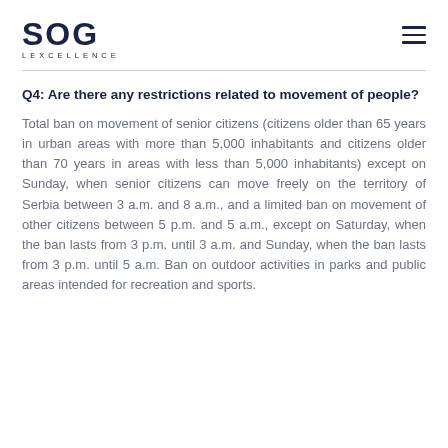SOG LEXCELLENCE
Q4: Are there any restrictions related to movement of people?
Total ban on movement of senior citizens (citizens older than 65 years in urban areas with more than 5,000 inhabitants and citizens older than 70 years in areas with less than 5,000 inhabitants) except on Sunday, when senior citizens can move freely on the territory of Serbia between 3 a.m. and 8 a.m., and a limited ban on movement of other citizens between 5 p.m. and 5 a.m., except on Saturday, when the ban lasts from 3 p.m. until 3 a.m. and Sunday, when the ban lasts from 3 p.m. until 5 a.m. Ban on outdoor activities in parks and public areas intended for recreation and sports.